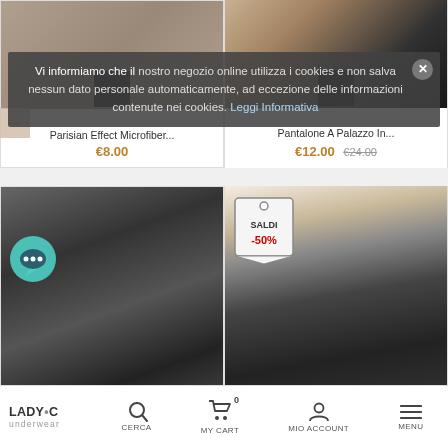[Figure (screenshot): E-commerce product listing page for Lady C underwear store showing leggings/pants products. Top row: 'Parisian Effect Microfiber...' at €8.00 and 'Pantalone A Palazzo In...' at €12.00 (was €24.00). Bottom row: shiny leggings with chat bubble badge and lace leggings with SALDI -50% sale tag.]
Vi informiamo che il nostro negozio online utilizza i cookies e non salva nessun dato personale automaticamente, ad eccezione delle informazioni contenute nei cookies. Leggi Informativa
Parisian Effect Microfiber...
€8.00
Pantalone A Palazzo In...
€12.00  €24.00
LADY•C underwear  CERCA  MY CART 0  MIO ACCOUNT  MENU